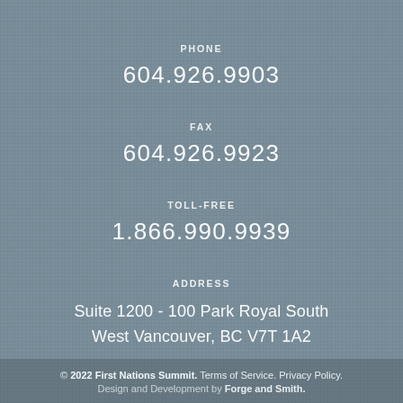PHONE
604.926.9903
FAX
604.926.9923
TOLL-FREE
1.866.990.9939
ADDRESS
Suite 1200 - 100 Park Royal South
West Vancouver, BC V7T 1A2
© 2022 First Nations Summit. Terms of Service. Privacy Policy. Design and Development by Forge and Smith.